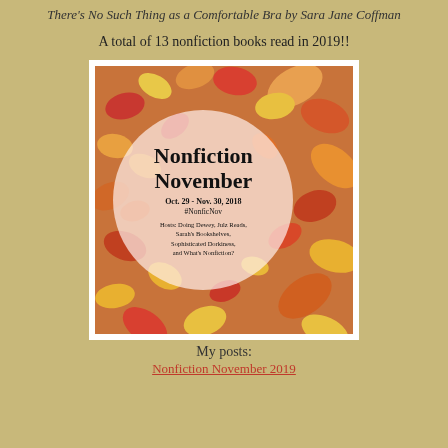There's No Such Thing as a Comfortable Bra by Sara Jane Coffman
A total of 13 nonfiction books read in 2019!!
[Figure (infographic): Nonfiction November event image: autumn leaves background with a semi-transparent circle overlay containing the text 'Nonfiction November', 'Oct. 29 - Nov. 30, 2018', '#NonficNov', and 'Hosts: Doing Dewey, Julz Reads, Sarah's Bookshelves, Sophisticated Dorkiness, and What's Nonfiction?']
My posts:
Nonfiction November 2019